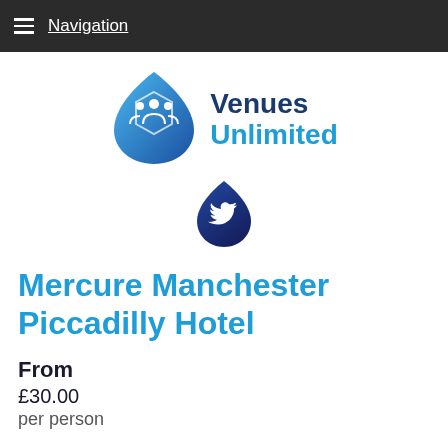Navigation
[Figure (logo): Venues Unlimited logo: blue teardrop/hexagon shape with people icon and 'Venues Unlimited' text in dark blue and light blue]
[Figure (logo): Twitter bird icon inside a dark navy blue teardrop/leaf shape]
Mercure Manchester Piccadilly Hotel
From
£30.00
per person